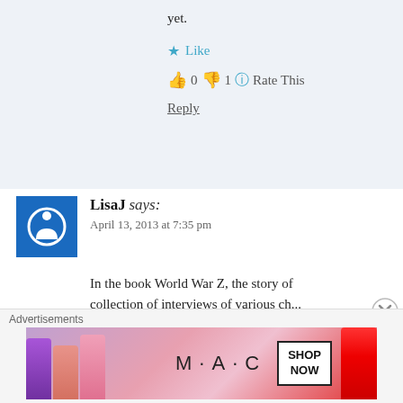yet.
★ Like
👍 0 👎 1 ℹ Rate This
Reply
LisaJ says:
April 13, 2013 at 7:35 pm
In the book World War Z, the story of collection of interviews of various ch... There is no main character trying to s... trailer, the only thing the book and the... common is the title.
Advertisements
[Figure (photo): MAC cosmetics advertisement banner with lipsticks and SHOP NOW button]